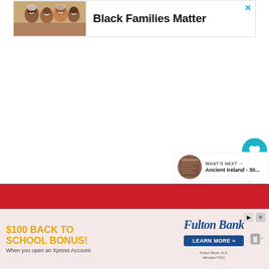[Figure (photo): Advertisement banner with photo of smiling Black family lying together, text 'Black Families Matter', close button top right]
[Figure (other): Heart/like button (teal circle with heart icon), count 112, share button below]
112
[Figure (other): What's Next panel with thumbnail of Ancient Ireland book cover and label 'WHAT'S NEXT → Ancient Ireland - 30...']
[Figure (other): Red bar footer strip]
[Figure (other): Fulton Bank advertisement: '$100 BACK TO SCHOOL BONUS! When you open an Xpress Account.' with Fulton Bank logo and LEARN MORE button]